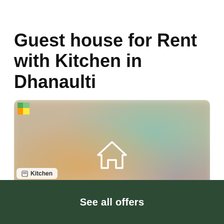Guest house for Rent with Kitchen in Dhanaulti
[Figure (photo): Blurred interior photo of a guest house room with warm lighting, showing a lamp and teal/green artwork, overlaid with a white house icon in the center]
See all offers